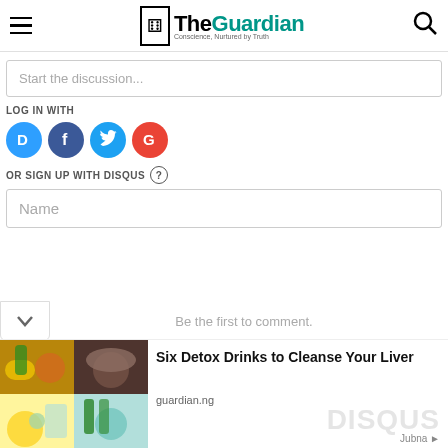The Guardian — Conscience, Nurtured by Truth
Start the discussion...
LOG IN WITH
[Figure (logo): Social login icons: Disqus (D), Facebook (f), Twitter bird, Google (G)]
OR SIGN UP WITH DISQUS ?
Name
Be the first to comment.
[Figure (photo): Grid of four images showing herbal/detox drinks and teas]
Six Detox Drinks to Cleanse Your Liver
guardian.ng
Jubna